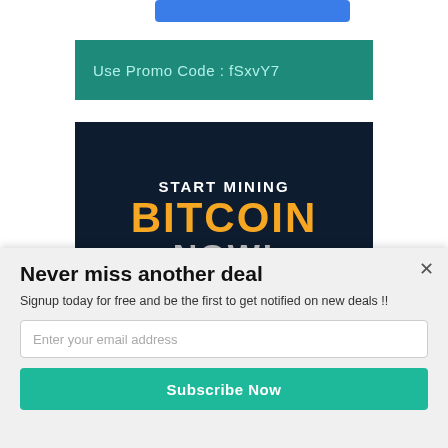[Figure (other): Partial blue button at top of page, cropped]
Use Promo Code : fSxvY7
[Figure (illustration): Dark background promotional image with text: START MINING BITCOIN NOW!]
Never miss another deal
Signup today for free and be the first to get notified on new deals !!
Enter your email address
Subscribe Now